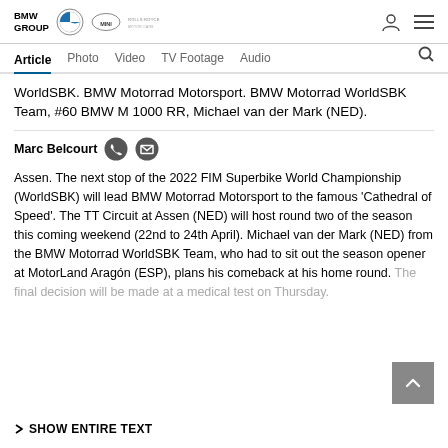BMW GROUP | BMW Mini Rolls-Royce logos
Article  Photo  Video  TV Footage  Audio
WorldSBK. BMW Motorrad Motorsport. BMW Motorrad WorldSBK Team, #60 BMW M 1000 RR, Michael van der Mark (NED).
Marc Belcourt
Assen. The next stop of the 2022 FIM Superbike World Championship (WorldSBK) will lead BMW Motorrad Motorsport to the famous 'Cathedral of Speed'. The TT Circuit at Assen (NED) will host round two of the season this coming weekend (22nd to 24th April). Michael van der Mark (NED) from the BMW Motorrad WorldSBK Team, who had to sit out the season opener at MotorLand Aragón (ESP), plans his comeback at his home round. The final decision will be made at a medical test on Thursday.
SHOW ENTIRE TEXT